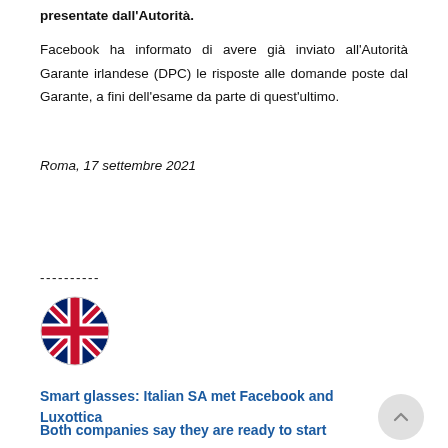presentate dall'Autorità.
Facebook ha informato di avere già inviato all'Autorità Garante irlandese (DPC) le risposte alle domande poste dal Garante, a fini dell'esame da parte di quest'ultimo.
Roma, 17 settembre 2021
----------
[Figure (illustration): UK flag icon (Union Jack) in circular shape]
Smart glasses: Italian SA met Facebook and Luxottica
Both companies say they are ready to start awareness-